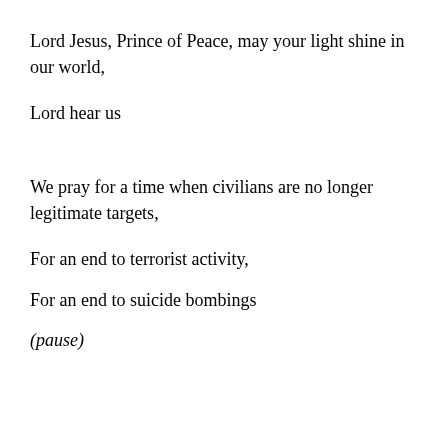Lord Jesus, Prince of Peace, may your light shine in our world,
Lord hear us
We pray for a time when civilians are no longer legitimate targets,
For an end to terrorist activity,
For an end to suicide bombings
(pause)